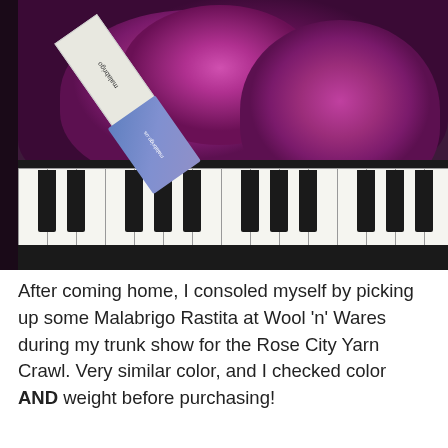[Figure (photo): Photo of skeins of purple/magenta Malabrigo Rastita yarn resting on piano keys, with a white label tag and a blue brand tag visible beneath the yarn.]
After coming home, I consoled myself by picking up some Malabrigo Rastita at Wool 'n' Wares during my trunk show for the Rose City Yarn Crawl. Very similar color, and I checked color AND weight before purchasing!